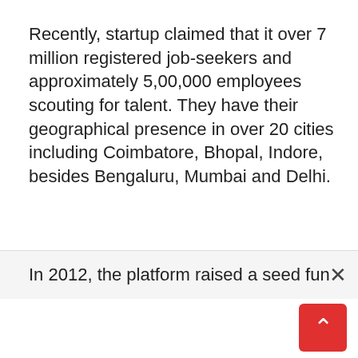Recently, startup claimed that it over 7 million registered job-seekers and approximately 5,00,000 employees scouting for talent. They have their geographical presence in over 20 cities including Coimbatore, Bhopal, Indore, besides Bengaluru, Mumbai and Delhi.
[Figure (other): Also Read callout box with red arrow button linking to: OnlineTyari Acquires Plix, a Photo and Video Sharing App]
In 2012, the platform raised a seed funding of R